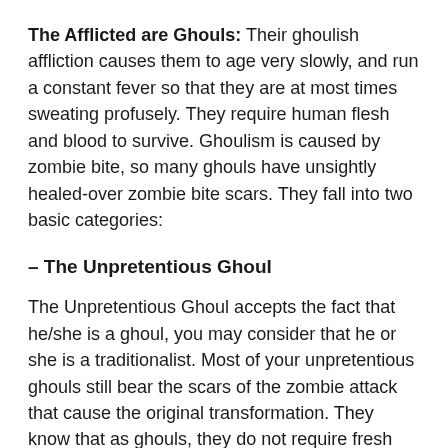The Afflicted are Ghouls: Their ghoulish affliction causes them to age very slowly, and run a constant fever so that they are at most times sweating profusely. They require human flesh and blood to survive. Ghoulism is caused by zombie bite, so many ghouls have unsightly healed-over zombie bite scars. They fall into two basic categories:
– The Unpretentious Ghoul
The Unpretentious Ghoul accepts the fact that he/she is a ghoul, you may consider that he or she is a traditionalist. Most of your unpretentious ghouls still bear the scars of the zombie attack that cause the original transformation. They know that as ghouls, they do not require fresh human flesh or blood, and can survive on the flesh of the dead. The unpretentious ghoul may eat rotting corpses,